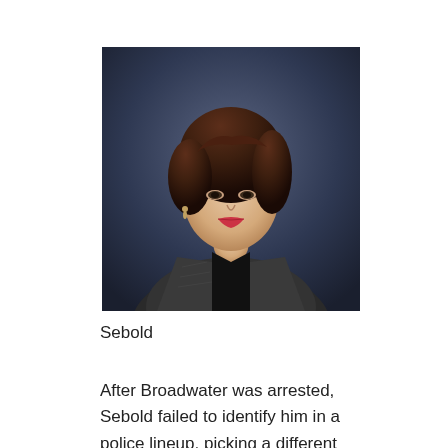[Figure (photo): Portrait photograph of a woman (Sebold) with short dark reddish-brown hair, wearing a dark blazer over a black top, photographed against a dark blue-gray background.]
Sebold
After Broadwater was arrested, Sebold failed to identify him in a police lineup, picking a different